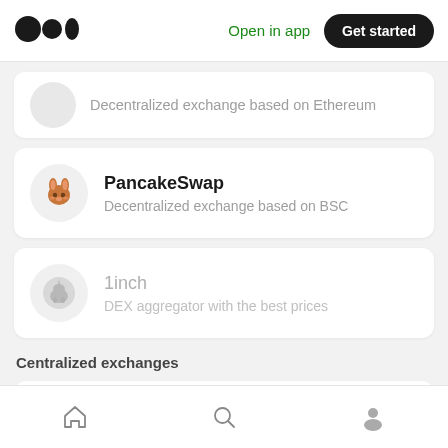[Figure (logo): Medium logo (two filled circles and an oval)]
Open in app
Get started
Decentralized exchange based on Ethereum
PancakeSwap
Decentralized exchange based on BSC
1inch
DEX aggregator with the best prices
Centralized exchanges
Gate.io
Your gateway to cryptocurrency